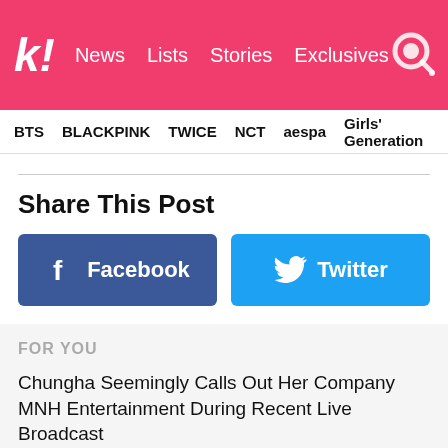k! News Lists Stories Exclusives
BTS  BLACKPINK  TWICE  NCT  aespa  Girls' Generation
Share This Post
[Figure (screenshot): Facebook share button (blue, rounded rectangle) with Facebook 'f' icon and text 'Facebook']
[Figure (screenshot): Twitter share button (light blue, rounded rectangle) with Twitter bird icon and text 'Twitter']
FOR YOU
Chungha Seemingly Calls Out Her Company MNH Entertainment During Recent Live Broadcast
EXO's Baekhyun Opens Up About His Struggle With